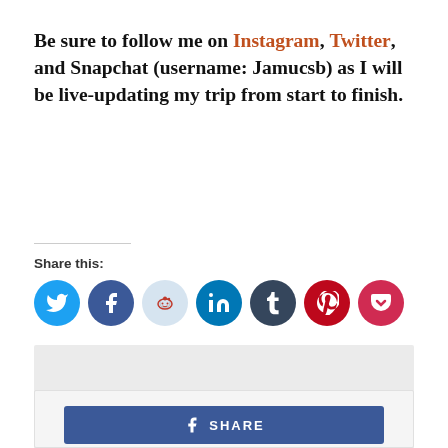Be sure to follow me on Instagram, Twitter, and Snapchat (username: Jamucsb) as I will be live-updating my trip from start to finish.
Share this:
[Figure (infographic): Social media share icons: Twitter (blue), Facebook (dark blue), Reddit (light blue), LinkedIn (medium blue), Tumblr (dark navy), Pinterest (red), Pocket (dark red)]
[Figure (other): Gray advertisement placeholder box]
[Figure (other): Facebook Share button in blue]